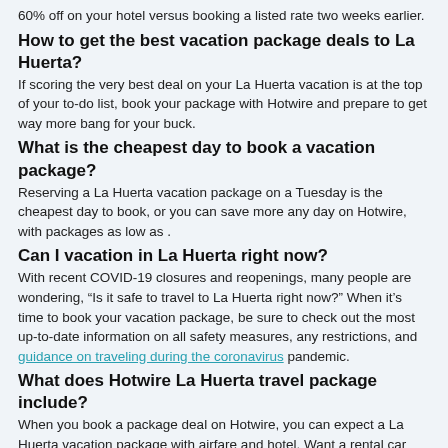60% off on your hotel versus booking a listed rate two weeks earlier.
How to get the best vacation package deals to La Huerta?
If scoring the very best deal on your La Huerta vacation is at the top of your to-do list, book your package with Hotwire and prepare to get way more bang for your buck.
What is the cheapest day to book a vacation package?
Reserving a La Huerta vacation package on a Tuesday is the cheapest day to book, or you can save more any day on Hotwire, with packages as low as .
Can I vacation in La Huerta right now?
With recent COVID-19 closures and reopenings, many people are wondering, “Is it safe to travel to La Huerta right now?” When it’s time to book your vacation package, be sure to check out the most up-to-date information on all safety measures, any restrictions, and guidance on traveling during the coronavirus pandemic.
What does Hotwire La Huerta travel package include?
When you book a package deal on Hotwire, you can expect a La Huerta vacation package with airfare and hotel. Want a rental car too? No biggie, you can add it to your package.